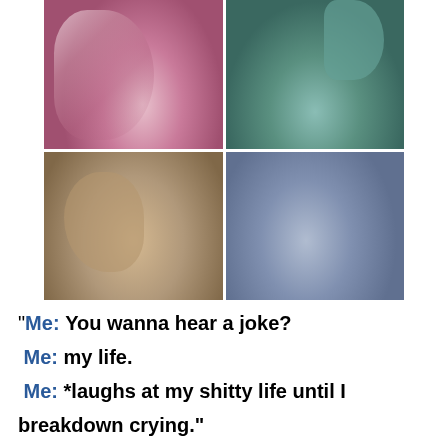[Figure (photo): A 2x2 grid of four emotionally distressed people: top-left is a blonde girl with pink/magenta tint looking down, top-right is a boy with teal/green tint with hand near face, bottom-left is a man with sepia/tan tint holding his head in his hands, bottom-right is a woman with blue/grey tint looking sideways.]
“Me: You wanna hear a joke?
 Me: my life.
 Me: *laughs at my shitty life until I breakdown crying.”